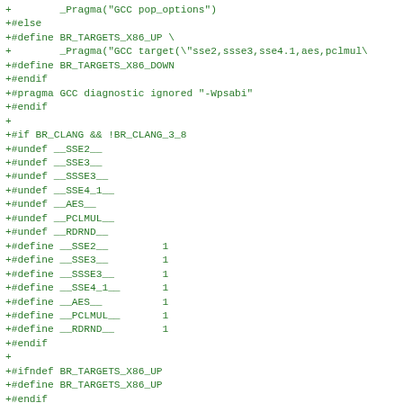+        _Pragma("GCC pop_options")
+#else
+#define BR_TARGETS_X86_UP \
+        _Pragma("GCC target(\"sse2,ssse3,sse4.1,aes,pclmul\"
+#define BR_TARGETS_X86_DOWN
+#endif
+#pragma GCC diagnostic ignored "-Wpsabi"
+#endif
+
+#if BR_CLANG && !BR_CLANG_3_8
+#undef __SSE2__
+#undef __SSE3__
+#undef __SSSE3__
+#undef __SSE4_1__
+#undef __AES__
+#undef __PCLMUL__
+#undef __RDRND__
+#define __SSE2__         1
+#define __SSE3__         1
+#define __SSSE3__        1
+#define __SSE4_1__       1
+#define __AES__          1
+#define __PCLMUL__       1
+#define __RDRND__        1
+#endif
+
+#ifndef BR_TARGETS_X86_UP
+#define BR_TARGETS_X86_UP
+#endif
+#ifndef BR_TARGETS_X86_DOWN
+#define BR_TARGETS_X86_DOWN
+#endif